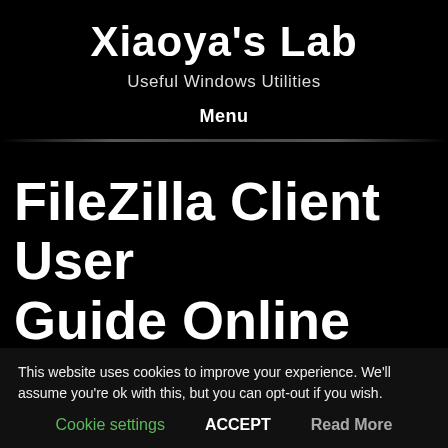Xiaoya's Lab
Useful Windows Utilities
Menu
FileZilla Client User Guide Online Edition
This website uses cookies to improve your experience. We'll assume you're ok with this, but you can opt-out if you wish.
Cookie settings   ACCEPT   Read More